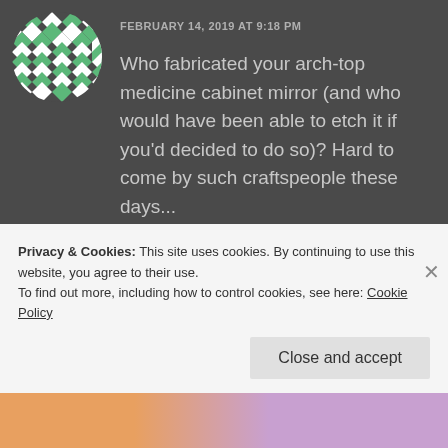[Figure (illustration): Circular avatar with green and white geometric/quilt pattern]
FEBRUARY 14, 2019 AT 9:18 PM
Who fabricated your arch-top medicine cabinet mirror (and who would have been able to etch it if you'd decided to do so)? Hard to come by such craftspeople these days...
REPLY
Privacy & Cookies: This site uses cookies. By continuing to use this website, you agree to their use.
To find out more, including how to control cookies, see here: Cookie Policy
Close and accept